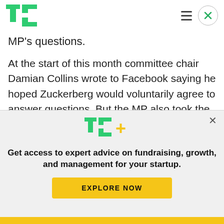TechCrunch header with logo, hamburger menu, and close button
MP's questions.
At the start of this month committee chair Damian Collins wrote to Facebook saying he hoped Zuckerberg would voluntarily agree to answer questions. But the MP also took the unprecedented step of warning that if the Facebook founder did not do so the committee would issue a formal
[Figure (logo): TechCrunch TC+ logo with green TC letters and yellow plus sign]
Get access to expert advice on fundraising, growth, and management for your startup.
EXPLORE NOW